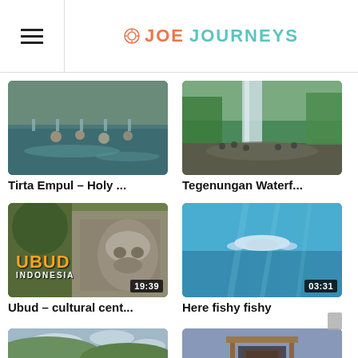JoeJourneys
[Figure (screenshot): Thumbnail for Tirta Empul - Holy ... video, showing people in a sacred pool]
Tirta Empul – Holy ...
[Figure (screenshot): Thumbnail for Tegenungan Waterf... video, showing a waterfall with tourists]
Tegenungan Waterf...
[Figure (screenshot): Thumbnail for Ubud – cultural cent... video (19:39), showing stone statue with UBUD INDONESIA overlay]
Ubud – cultural cent...
[Figure (screenshot): Thumbnail for Here fishy fishy video (03:31), showing underwater scene with diver]
Here fishy fishy
[Figure (screenshot): Thumbnail for third row left video (03:22), showing green hills and cloudy sky]
[Figure (screenshot): Thumbnail for third row right video (07:36), showing wooden structure against blue sky]